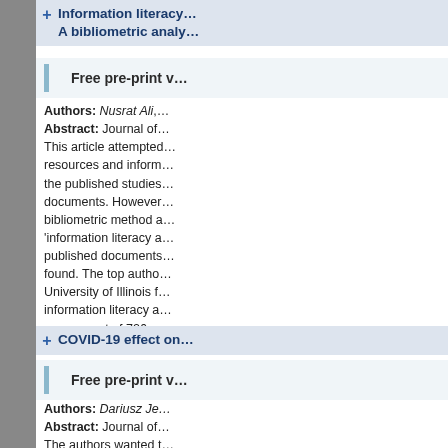Information literacy ... A bibliometric analy...
Free pre-print v...
Authors: Nusrat Ali, ... Abstract: Journal of ... This article attempted ... resources and inform... the published studies... documents. However... bibliometric method a... 'information literacy a... published documents... found. The top autho... University of Illinois f... information literacy a... sources out of 726 a... Citation: Journal of I... PubDate: 2022-02-1... DOI: 10.1177/016555...
COVID-19 effect on...
Free pre-print v...
Authors: Dariusz Je... Abstract: Journal of ... The authors wanted t... COVID-19 pandemic...